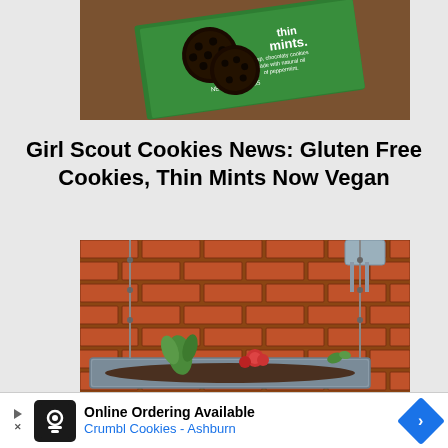[Figure (photo): Photo of a green box of Girl Scout Thin Mints cookies with dark chocolate cookies displayed on a wooden surface. The box reads 'thin mints. Crisp, chocolaty cookies made with natural oil of peppermint. NET WT 9 OZ(255g)']
Girl Scout Cookies News: Gluten Free Cookies, Thin Mints Now Vegan
[Figure (photo): Photo of succulents and small plants growing in a metal gutter/rain gutter planter mounted against a rustic red brick wall, with a watering can visible at the top right]
Online Ordering Available
Crumbl Cookies - Ashburn